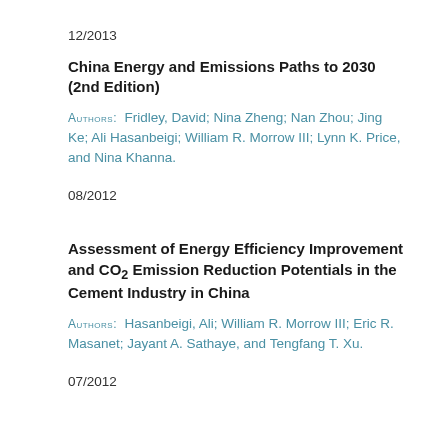12/2013
China Energy and Emissions Paths to 2030 (2nd Edition)
AUTHORS:  Fridley, David; Nina Zheng; Nan Zhou; Jing Ke; Ali Hasanbeigi; William R. Morrow III; Lynn K. Price, and Nina Khanna.
08/2012
Assessment of Energy Efficiency Improvement and CO₂ Emission Reduction Potentials in the Cement Industry in China
AUTHORS:  Hasanbeigi, Ali; William R. Morrow III; Eric R. Masanet; Jayant A. Sathaye, and Tengfang T. Xu.
07/2012